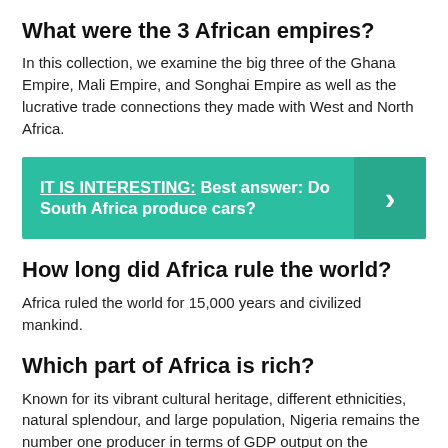What were the 3 African empires?
In this collection, we examine the big three of the Ghana Empire, Mali Empire, and Songhai Empire as well as the lucrative trade connections they made with West and North Africa.
[Figure (infographic): Teal banner with text: IT IS INTERESTING: Best answer: Do South Africa produce cars? with a chevron arrow on the right side]
How long did Africa rule the world?
Africa ruled the world for 15,000 years and civilized mankind.
Which part of Africa is rich?
Known for its vibrant cultural heritage, different ethnicities, natural splendour, and large population, Nigeria remains the number one producer in terms of GDP output on the continent and Africa's wealthiest country.